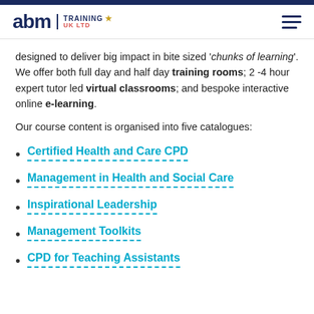abm TRAINING UK LTD
designed to deliver big impact in bite sized 'chunks of learning'. We offer both full day and half day training rooms; 2 -4 hour expert tutor led virtual classrooms; and bespoke interactive online e-learning.
Our course content is organised into five catalogues:
Certified Health and Care CPD
Management in Health and Social Care
Inspirational Leadership
Management Toolkits
CPD for Teaching Assistants